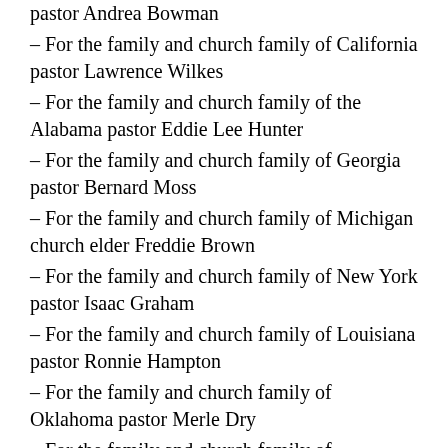pastor Andrea Bowman
– For the family and church family of California pastor Lawrence Wilkes
– For the family and church family of the Alabama pastor Eddie Lee Hunter
– For the family and church family of Georgia pastor Bernard Moss
– For the family and church family of Michigan church elder Freddie Brown
– For the family and church family of New York pastor Isaac Graham
– For the family and church family of Louisiana pastor Ronnie Hampton
– For the family and church family of Oklahoma pastor Merle Dry
– For the family and church family of Malaysian pastor